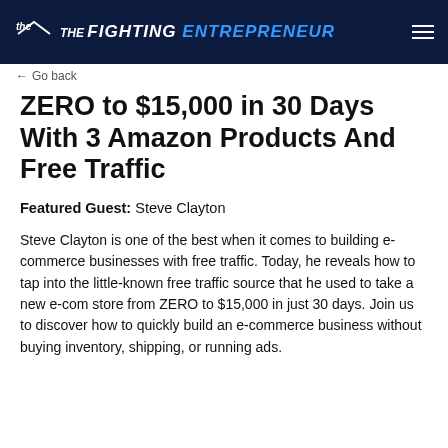The FIGHTING ENTREPRENEUR
ZERO to $15,000 in 30 Days With 3 Amazon Products And Free Traffic
Featured Guest: Steve Clayton
Steve Clayton is one of the best when it comes to building e-commerce businesses with free traffic. Today, he reveals how to tap into the little-known free traffic source that he used to take a new e-com store from ZERO to $15,000 in just 30 days. Join us to discover how to quickly build an e-commerce business without buying inventory, shipping, or running ads.